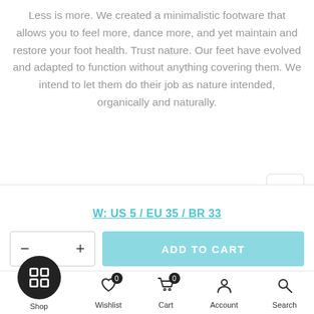Less is more. We created a minimalistic footware that allows you to feel more, dance more, and yet maintain and restore your foot health. Trust nature. Our feet have evolved and adapted to function without anything covering them. We intend to let them do their job as nature intended, organically and naturally.
W: US 5 / EU 35 / BR 33
ADD TO CART
Shop  Wishlist  Cart  Account  Search